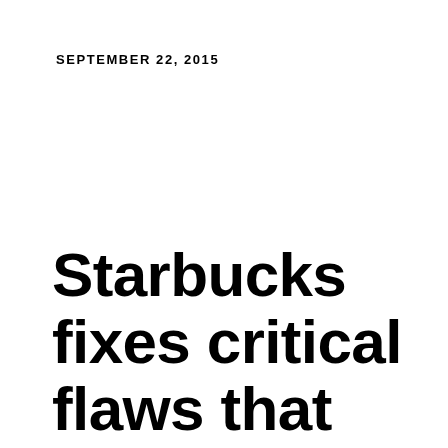SEPTEMBER 22, 2015
Starbucks fixes critical flaws that could allow an